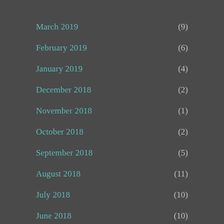March 2019 (9)
February 2019 (6)
January 2019 (4)
December 2018 (2)
November 2018 (1)
October 2018 (2)
September 2018 (5)
August 2018 (11)
July 2018 (10)
June 2018 (10)